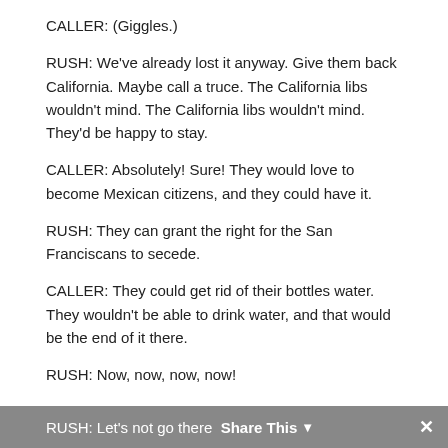CALLER: (Giggles.)
RUSH: We've already lost it anyway. Give them back California. Maybe call a truce. The California libs wouldn't mind. The California libs wouldn't mind. They'd be happy to stay.
CALLER: Absolutely! Sure! They would love to become Mexican citizens, and they could have it.
RUSH: They can grant the right for the San Franciscans to secede.
CALLER: They could get rid of their bottles water. They wouldn't be able to drink water, and that would be the end of it there.
RUSH: Now, now, now, now!
CALLER: (Giggles.)
RUSH: Let's not go there   Share This  ×